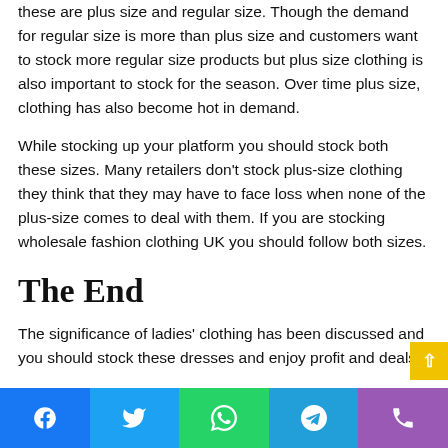these are plus size and regular size. Though the demand for regular size is more than plus size and customers want to stock more regular size products but plus size clothing is also important to stock for the season. Over time plus size, clothing has also become hot in demand.
While stocking up your platform you should stock both these sizes. Many retailers don't stock plus-size clothing they think that they may have to face loss when none of the plus-size comes to deal with them. If you are stocking wholesale fashion clothing UK you should follow both sizes.
The End
The significance of ladies' clothing has been discussed and you should stock these dresses and enjoy profit and deals f